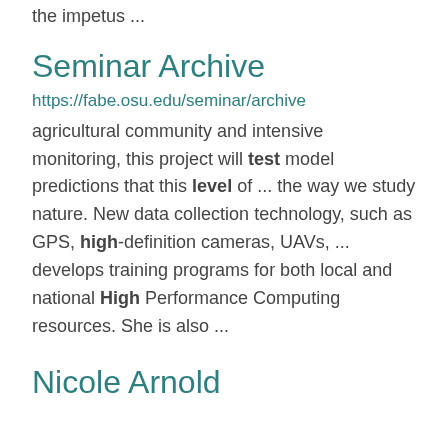the impetus ...
Seminar Archive
https://fabe.osu.edu/seminar/archive
agricultural community and intensive monitoring, this project will test model predictions that this level of ... the way we study nature. New data collection technology, such as GPS, high-definition cameras, UAVs, ... develops training programs for both local and national High Performance Computing resources. She is also ...
Nicole Arnold